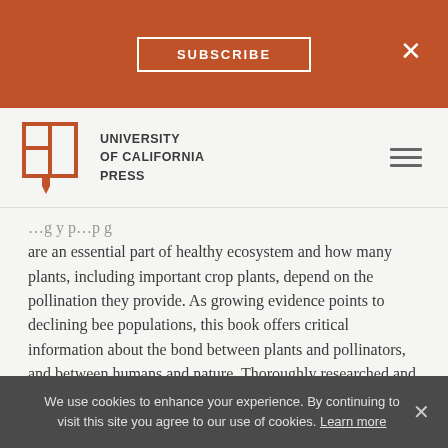SUBSCRIBE  ×
[Figure (logo): University of California Press logo with open book icon and text: UNIVERSITY of CALIFORNIA PRESS]
are an essential part of healthy ecosystem and how many plants, including important crop plants, depend on the pollination they provide. As growing evidence points to declining bee populations, this book offers critical information about the bond between plants and pollinators, and between humans and nature. Thoroughly researched and full of new insights into the ancient process of pollination, Field Guide to the Common Bees of California; Including Bees of the Western United States is invaluable for the window it opens onto the biodiversity, adaptive range, and complexity of invertebrate communities.
We use cookies to enhance your experience. By continuing to visit this site you agree to our use of cookies. Learn more ×